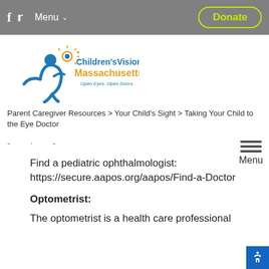f  🐦  Menu ∨   Donate
[Figure (logo): Children's Vision Massachusetts logo with a blue figure person and an eye graphic, text: Children's Vision Massachusetts, Open Eyes. Open Doors.]
Parent Caregiver Resources > Your Child's Sight > Taking Your Child to the Eye Doctor
- · -
Find a pediatric ophthalmologist: https://secure.aapos.org/aapos/Find-a-Doctor
Optometrist:
The optometrist is a health care professional